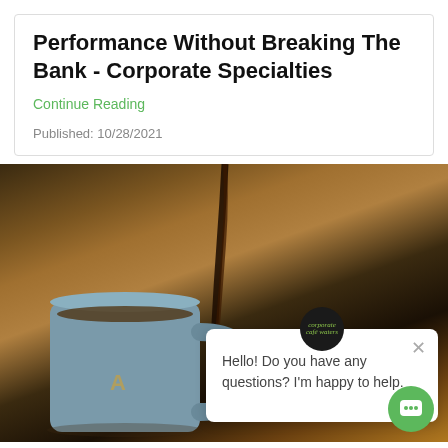Performance Without Breaking The Bank - Corporate Specialties
Continue Reading
Published: 10/28/2021
[Figure (photo): A gray/blue mug being filled with dark coffee/espresso poured from a machine, on a wooden surface with a dark bokeh background. A chat widget overlay is visible with avatar, close button, and message: 'Hello! Do you have any questions? I'm happy to help.' A green chat button is in the bottom right corner.]
Thirsty For Effective Branding Ideas? Think